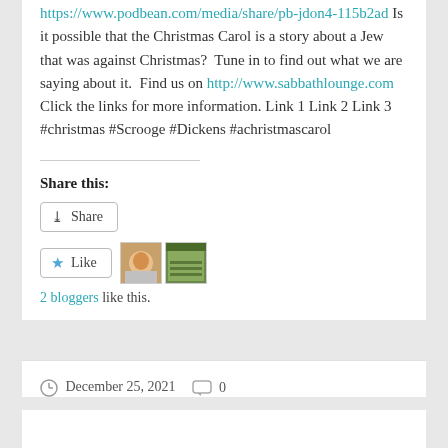https://www.podbean.com/media/share/pb-jdon4-115b2ad Is it possible that the Christmas Carol is a story about a Jew that was against Christmas? Tune in to find out what we are saying about it. Find us on http://www.sabbathlounge.com Click the links for more information. Link 1 Link 2 Link 3 #christmas #Scrooge #Dickens #achristmascarol
Share this:
Share
Like
2 bloggers like this.
December 25, 2021
0